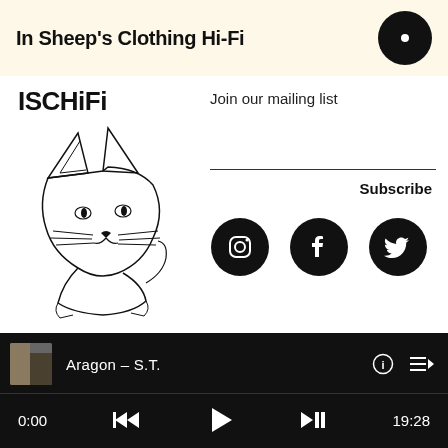In Sheep’s Clothing Hi-Fi
[Figure (logo): ISCHiFi cat line-art illustration logo]
Join our mailing list
Subscribe
[Figure (infographic): Instagram, Facebook, and Twitter social media icons (black circles with white logos)]
Aragon – S.T.
0:00
19:28